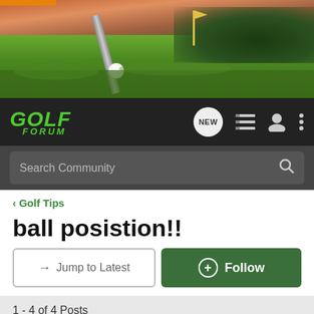[Figure (photo): Golf course banner with club, ball, and green grass fairway at dusk with trees in background]
GOLF FORUM
Search Community
< Golf Tips
ball posistion!!
→ Jump to Latest
+ Follow
1 - 4 of 4 Posts
ou812 · Registered
Joined May 15, 2006 · 14 Posts